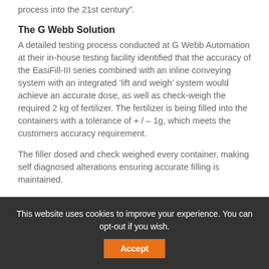process into the 21st century”.
The G Webb Solution
A detailed testing process conducted at G Webb Automation at their in-house testing facility identified that the accuracy of the EasiFill-III series combined with an inline conveying system with an integrated ‘lift and weigh’ system would achieve an accurate dose, as well as check-weigh the required 2 kg of fertilizer. The fertilizer is being filled into the containers with a tolerance of + / – 1g, which meets the customers accuracy requirement.
The filler dosed and check weighed every container, making self diagnosed alterations ensuring accurate filling is maintained.
This website uses cookies to improve your experience. You can opt-out if you wish.